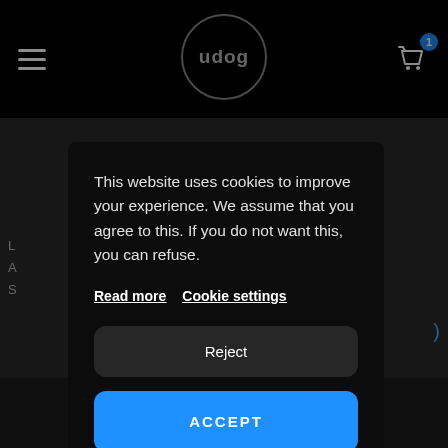[Figure (screenshot): Website cookie consent modal overlay on a dark e-commerce website (udog). The page shows a black navigation bar with hamburger menu, udog logo in a circle, and a cart icon with badge '1'. A modal dialog appears with cookie consent text, links for 'Read more' and 'Cookie settings', a 'Reject' button, and a blue 'ACCEPT' button.]
This website uses cookies to improve your experience. We assume that you agree to this. If you do not want this, you can refuse.
Read more   Cookie settings
Reject
ACCEPT